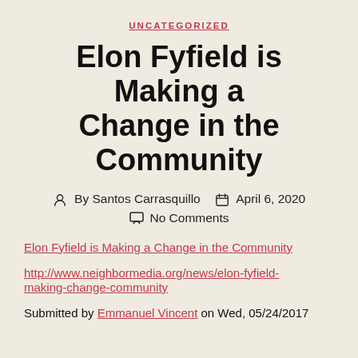UNCATEGORIZED
Elon Fyfield is Making a Change in the Community
By Santos Carrasquillo   April 6, 2020
No Comments
Elon Fyfield is Making a Change in the Community
http://www.neighbormedia.org/news/elon-fyfield-making-change-community
Submitted by Emmanuel Vincent on Wed, 05/24/2017